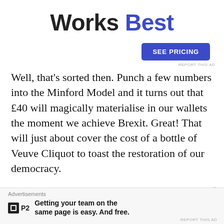Works Best
[Figure (other): SEE PRICING button — blue rounded rectangle with white bold uppercase text]
REPORT THIS AD
Well, that’s sorted then. Punch a few numbers into the Minford Model and it turns out that £40 will magically materialise in our wallets the moment we achieve Brexit. Great! That will just about cover the cost of a bottle of Veuve Cliquot to toast the restoration of our democracy.
How long until Vote Leave use this “analysis” to knock up their own version of Britain Stronger in Europe’s risible calculator, which showed you would be better off ’ll …
Advertisements
Getting your team on the same page is easy. And free.
REPORT THIS AD